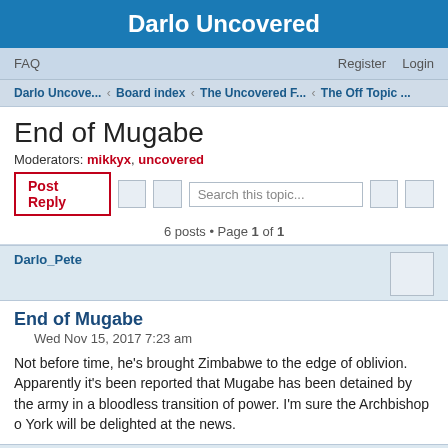Darlo Uncovered
FAQ    Register    Login
Darlo Uncove... ‹ Board index ‹ The Uncovered F... ‹ The Off Topic ...
End of Mugabe
Moderators: mikkyx, uncovered
Post Reply   [buttons]   Search this topic...
6 posts • Page 1 of 1
Darlo_Pete
End of Mugabe
Wed Nov 15, 2017 7:23 am
Not before time, he's brought Zimbabwe to the edge of oblivion. Apparently it's been reported that Mugabe has been detained by the army in a bloodless transition of power. I'm sure the Archbishop o York will be delighted at the news.
Feethams 1966